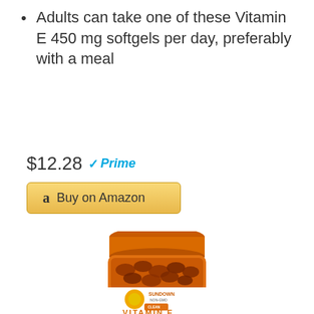Adults can take one of these Vitamin E 450 mg softgels per day, preferably with a meal
$12.28 Prime
Buy on Amazon
[Figure (photo): Sundown Non-GMO Clean Nutrition Vitamin E supplement bottle with orange cap, filled with amber softgels, showing label with sunflower logo]